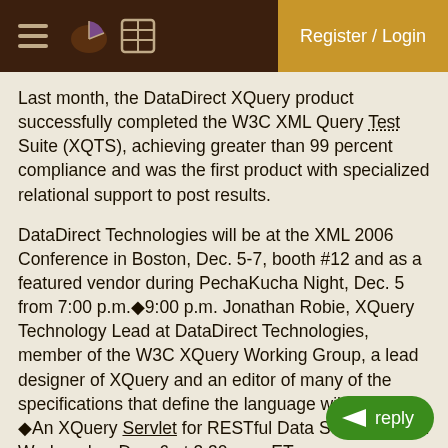Register / Login
Last month, the DataDirect XQuery product successfully completed the W3C XML Query Test Suite (XQTS), achieving greater than 99 percent compliance and was the first product with specialized relational support to post results.
DataDirect Technologies will be at the XML 2006 Conference in Boston, Dec. 5-7, booth #12 and as a featured vendor during PechaKucha Night, Dec. 5 from 7:00 p.m.◙‐9:00 p.m. Jonathan Robie, XQuery Technology Lead at DataDirect Technologies, member of the W3C XQuery Working Group, a lead designer of XQuery and an editor of many of the specifications that define the language will present, ◙‐An XQuery Servlet for RESTful Data Services,◙‐ on Wednesday, Dec. 6 at 3:30 p.m. ET.
B]About DataDirect Technologies[/B] DataDirect Technologies is the software industry◙‐s only comprehensive provider of software for connecting the